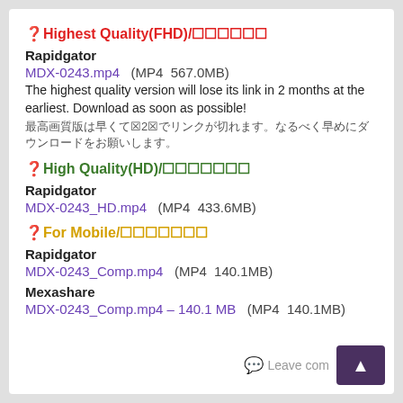🔴Highest Quality(FHD)/最高画質
Rapidgator
MDX-0243.mp4   (MP4  567.0MB)
The highest quality version will lose its link in 2 months at the earliest. Download as soon as possible!
最高画質版は早くて2ヶ月でリンクが切れます。なるべく早めにダウンロードをお願いします。
🟢High Quality(HD)/高画質
Rapidgator
MDX-0243_HD.mp4   (MP4  433.6MB)
🟡For Mobile/スマホ用
Rapidgator
MDX-0243_Comp.mp4   (MP4  140.1MB)
Mexashare
MDX-0243_Comp.mp4 – 140.1 MB   (MP4  140.1MB)
Leave comment